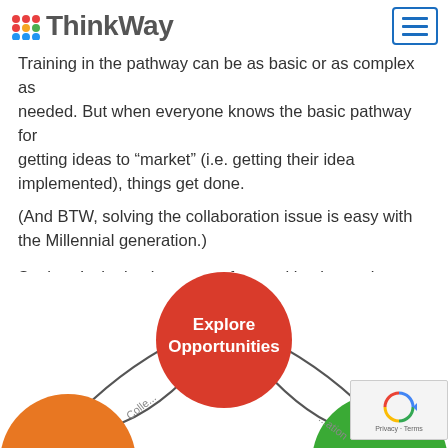ThinkWay
Training in the pathway can be as basic or as complex as needed. But when everyone knows the basic pathway for getting ideas to “market” (i.e. getting their idea implemented), things get done.
(And BTW, solving the collaboration issue is easy with the Millennial generation.)
So, here’s the basic process for sparking internal innovation within your business. This approach actually has impact. Teach your people how to use i2m® to get their ideas implemented. See what happens when everyone in your business knows how to innovate.
[Figure (flowchart): Circular innovation process diagram showing interconnected steps: Explore Opportunities (red circle, center-top), with arrows curving left and right connecting to other steps including Collaborate (lower left, orange circle partially visible) and another step (green circle, lower right, partially visible). Curved arrows with arrowheads labeled 'Colle...' and '...ation' connect the circles in a cycle.]